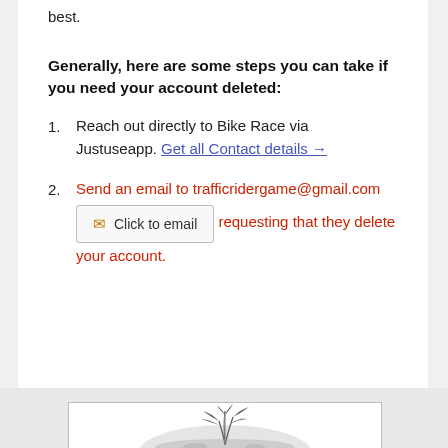best.
Generally, here are some steps you can take if you need your account deleted:
Reach out directly to Bike Race via Justuseapp. Get all Contact details →
Send an email to trafficridergame@gmail.com [Click to email] requesting that they delete your account.
[Figure (illustration): Black and white botanical illustration of a plant with leaves growing from a rounded form, shown partially at the bottom of the page.]